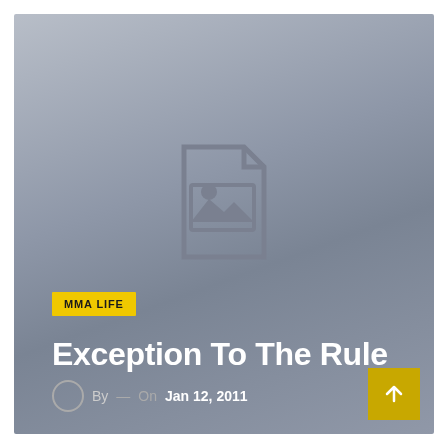[Figure (illustration): Gray gradient card background with a placeholder image icon (document with mountain/photo icon) in the center]
MMA LIFE
Exception To The Rule
By — On Jan 12, 2011